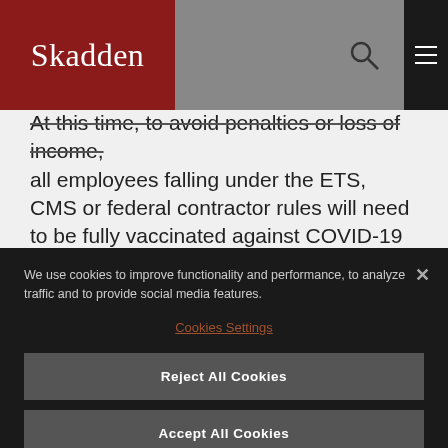Skadden
At this time, to avoid penalties or loss of income, all employees falling under the ETS, CMS or federal contractor rules will need to be fully vaccinated against COVID-19 by January 4, 2022. Given the upcoming urgent deadlines, covered employers must proactively assess their
We use cookies to improve functionality and performance, to analyze traffic and to provide social media features.
Cookies Settings
Reject All Cookies
Accept All Cookies